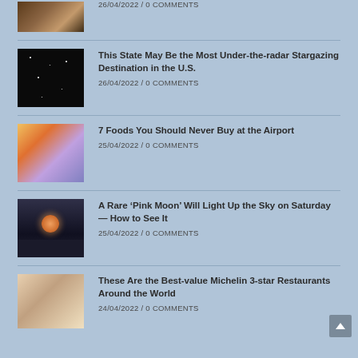[Figure (photo): Thumbnail of a cozy room interior (partially visible at top)]
26/04/2022 / 0 COMMENTS
[Figure (photo): Dark night sky with stars]
This State May Be the Most Under-the-radar Stargazing Destination in the U.S.
26/04/2022 / 0 COMMENTS
[Figure (photo): Food spread with various dishes and drinks]
7 Foods You Should Never Buy at the Airport
25/04/2022 / 0 COMMENTS
[Figure (photo): Pink moon rising over Stonehenge silhouette at night]
A Rare ‘Pink Moon’ Will Light Up the Sky on Saturday — How to See It
25/04/2022 / 0 COMMENTS
[Figure (photo): Chef plating a Michelin-star dish]
These Are the Best-value Michelin 3-star Restaurants Around the World
24/04/2022 / 0 COMMENTS